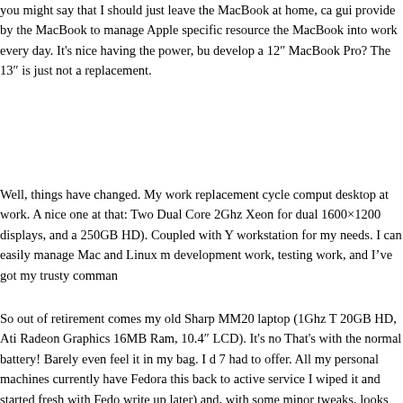you might say that I should just leave the MacBook at home, ca gui provide by the MacBook to manage Apple specific resource the MacBook into work every day. It's nice having the power, bu develop a 12" MacBook Pro? The 13" is just not a replacement
Well, things have changed. My work replacement cycle comput desktop at work. A nice one at that: Two Dual Core 2Ghz Xeon for dual 1600×1200 displays, and a 250GB HD). Coupled with Y workstation for my needs. I can easily manage Mac and Linux m development work, testing work, and I've got my trusty comman
So out of retirement comes my old Sharp MM20 laptop (1Ghz T 20GB HD, Ati Radeon Graphics 16MB Ram, 10.4" LCD). It's no That's with the normal battery! Barely even feel it in my bag. I d 7 had to offer. All my personal machines currently have Fedora this back to active service I wiped it and started fresh with Fedo write up later) and, with some minor tweaks, looks and runs we 3D acceleration ability, but I couldn't help giving the "Enhanced That is what this little laptop need to make it more effective. Tho transitions, I think it's smoother than without compiz enabled. A access to the mac expose like affects. A quick mouse pointer to